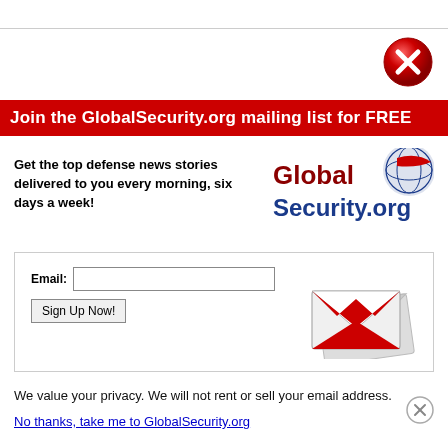[Figure (illustration): Red circle with white X close button, top right corner]
Join the GlobalSecurity.org mailing list for FREE
Get the top defense news stories delivered to you every morning, six days a week!
[Figure (logo): GlobalSecurity.org logo with globe graphic in red and blue]
Email: [input field] Sign Up Now! [button] with email envelope illustration
We value your privacy. We will not rent or sell your email address.
No thanks, take me to GlobalSecurity.org
[Figure (illustration): Small gray circle with X close button, bottom right]